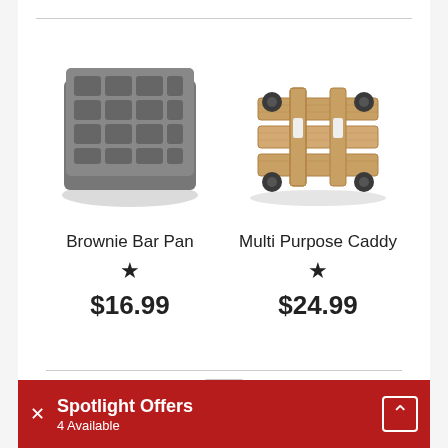[Figure (photo): Brownie Bar Pan - a rectangular dark gray non-stick muffin/brownie pan with 12 bar-shaped cavities]
Brownie Bar Pan
★
$16.99
[Figure (photo): Multi Purpose Caddy - a wooden pallet-style platform on four black caster wheels]
Multi Purpose Caddy
★
$24.99
[Figure (photo): Partial view of a white/silver product at the bottom of the page]
Spotlight Offers
4 Available